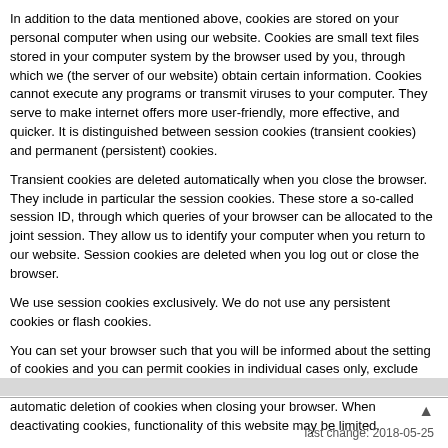In addition to the data mentioned above, cookies are stored on your personal computer when using our website. Cookies are small text files stored in your computer system by the browser used by you, through which we (the server of our website) obtain certain information. Cookies cannot execute any programs or transmit viruses to your computer. They serve to make internet offers more user-friendly, more effective, and quicker. It is distinguished between session cookies (transient cookies) and permanent (persistent) cookies.
Transient cookies are deleted automatically when you close the browser. They include in particular the session cookies. These store a so-called session ID, through which queries of your browser can be allocated to the joint session. They allow us to identify your computer when you return to our website. Session cookies are deleted when you log out or close the browser.
We use session cookies exclusively. We do not use any persistent cookies or flash cookies.
You can set your browser such that you will be informed about the setting of cookies and you can permit cookies in individual cases only, exclude the acceptance of cookies in certain cases or in general, and activate automatic deletion of cookies when closing your browser. When deactivating cookies, functionality of this website may be limited.
last change: 2018-05-25